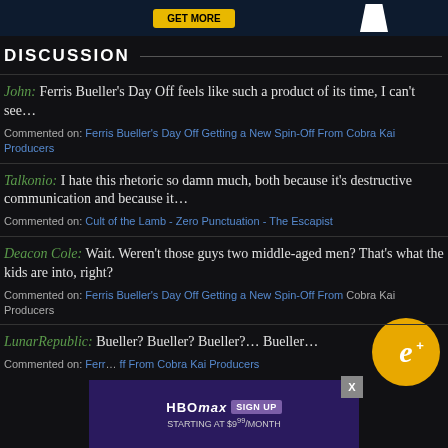[Figure (screenshot): Top ad banner with yellow button and white shape on dark blue background]
DISCUSSION
John: Ferris Bueller's Day Off feels like such a product of its time, I can't see…
Commented on: Ferris Bueller's Day Off Getting a New Spin-Off From Cobra Kai Producers
Talkonio: I hate this rhetoric so damn much, both because it's destructive communication and because it…
Commented on: Cult of the Lamb - Zero Punctuation - The Escapist
Deacon Cole: Wait. Weren't those guys two middle-aged men? That's what the kids are into, right?
Commented on: Ferris Bueller's Day Off Getting a New Spin-Off From Cobra Kai Producers
LunarRepublic: Bueller? Bueller? Bueller?... Bueller...
Commented on: Ferris Bueller's Day Off Getting a New Spin-Off From Cobra Kai Producers
[Figure (screenshot): HBO Max advertisement overlay: SIGN UP STARTING AT $9.99/MONTH with close X button]